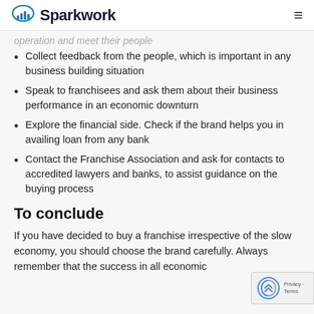Sparkwork
operation and meet their people
Collect feedback from the people, which is important in any business building situation
Speak to franchisees and ask them about their business performance in an economic downturn
Explore the financial side. Check if the brand helps you in availing loan from any bank
Contact the Franchise Association and ask for contacts to accredited lawyers and banks, to assist guidance on the buying process
To conclude
If you have decided to buy a franchise irrespective of the slow economy, you should choose the brand carefully. Always remember that the success in all economic